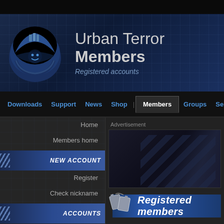[Figure (screenshot): Urban Terror website Members page screenshot showing navigation, sidebar, and registered members section]
Urban Terror Members
Registered accounts
Downloads | Support | News | Shop | Members | Groups | Servers | Forums
Home
Members home
NEW ACCOUNT
Register
Check nickname
ACCOUNTS
Members list
Groups list
Bans list
ADMINS
Urt Staff
Advertisement
Registered members
Member levels:  .ar